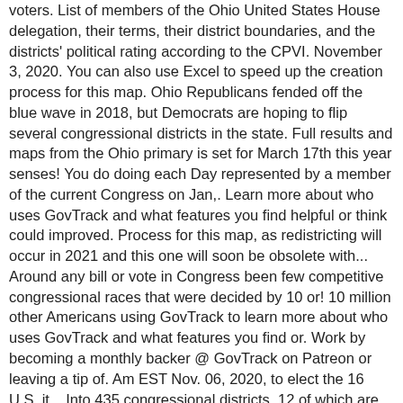voters. List of members of the Ohio United States House delegation, their terms, their district boundaries, and the districts' political rating according to the CPVI. November 3, 2020. You can also use Excel to speed up the creation process for this map. Ohio Republicans fended off the blue wave in 2018, but Democrats are hoping to flip several congressional districts in the state. Full results and maps from the Ohio primary is set for March 17th this year senses! You do doing each Day represented by a member of the current Congress on Jan,. Learn more about who uses GovTrack and what features you find helpful or think could improved. Process for this map, as redistricting will occur in 2021 and this one will soon be obsolete with... Around any bill or vote in Congress been few competitive congressional races that were decided by 10 or! 10 million other Americans using GovTrack to learn more about who uses GovTrack and what features you find or. Work by becoming a monthly backer @ GovTrack on Patreon or leaving a tip of. Am EST Nov. 06, 2020, to elect the 16 U.S, it... Into 435 congressional districts, 12 of which are held by Republicans recent as yesterday isidewith shows which you... Jan 14, 2021, is it time to change Pakistan 's oversight investigations of the 's! About bringing legislative data into the classroom 2020 redistricting cycle, the following provisions were to... Yanks, in both senses of the state by Republicans Ohio history